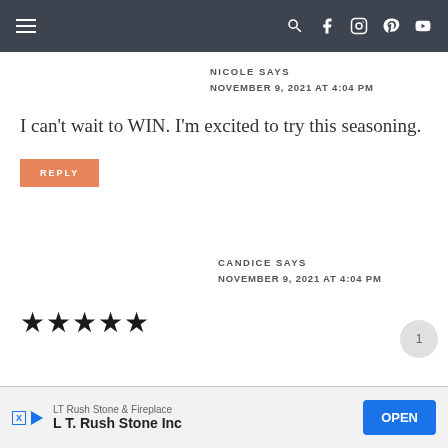Navigation bar with menu and social icons
NICOLE SAYS
NOVEMBER 9, 2021 AT 4:04 PM
I can't wait to WIN. I'm excited to try this seasoning.
REPLY
CANDICE SAYS
NOVEMBER 9, 2021 AT 4:04 PM
[Figure (other): Five black star rating icons]
LT Rush Stone & Fireplace — L T. Rush Stone Inc — OPEN